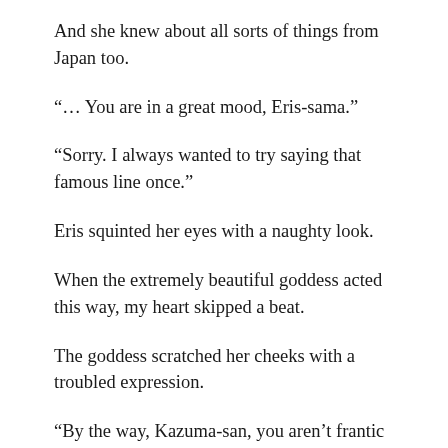And she knew about all sorts of things from Japan too.
“… You are in a great mood, Eris-sama.”
“Sorry. I always wanted to try saying that famous line once.”
Eris squinted her eyes with a naughty look.
When the extremely beautiful goddess acted this way, my heart skipped a beat.
The goddess scratched her cheeks with a troubled expression.
“By the way, Kazuma-san, you aren’t frantic at all even though you’re here… Well, the